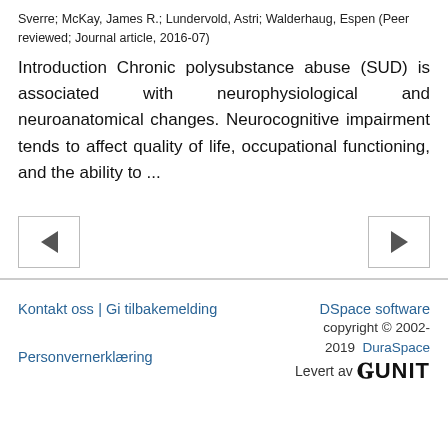Sverre; McKay, James R.; Lundervold, Astri; Walderhaug, Espen (Peer reviewed; Journal article, 2016-07)
Introduction Chronic polysubstance abuse (SUD) is associated with neurophysiological and neuroanatomical changes. Neurocognitive impairment tends to affect quality of life, occupational functioning, and the ability to ...
[Figure (other): Navigation buttons: left arrow button and right arrow button for browsing search results]
Kontakt oss | Gi tilbakemelding    DSpace software copyright © 2002-2019 DuraSpace    Personvernerklæring    Levert av UNIT